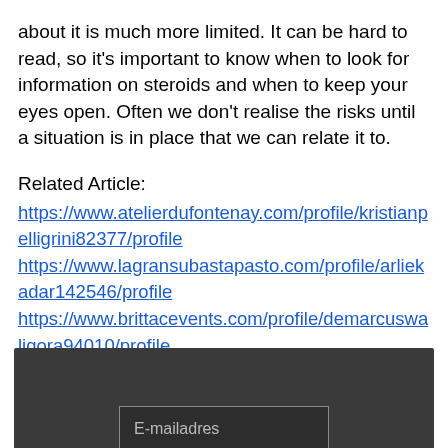about it is much more limited. It can be hard to read, so it's important to know when to look for information on steroids and when to keep your eyes open. Often we don't realise the risks until a situation is in place that we can relate it to.
Related Article:
https://www.atelierdufontenay.com/profile/kristianpelligrini82377/profile
https://www.lagransubastapasto.com/profile/arliekadar142546/profile
https://www.brittacevents.com/profile/demarcuswaligora94010/profile
https://www.pojdzzamna.org/profile/leladallesandro192555/profile
[Figure (other): Dark gray footer bar at the bottom of the page with a lighter bordered box containing text 'E-mailadres']